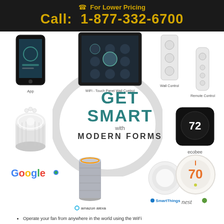For Lower Pricing
Call: 1-877-332-6700
[Figure (infographic): Smart home product ecosystem showing App, WiFi Touch Panel Wall Control, Wall Control, Remote Control, Google Home speaker, ecobee thermostat, Google Assistant logo, Amazon Alexa speaker, SmartThings hub, Nest thermostat, with central GET SMART with MODERN FORMS text and circle watermark]
Operate your fan from anywhere in the world using the WiFi